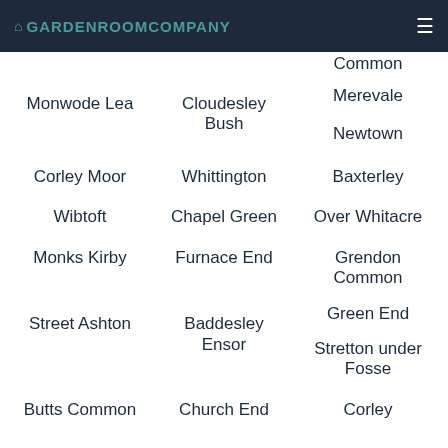GARDEN ROOM COMPANY
Common (partial, top)
Monwode Lea
Cloudesley Bush
Merevale
Newtown
Corley Moor
Whittington
Baxterley
Wibtoft
Chapel Green
Over Whitacre
Monks Kirby
Furnace End
Grendon Common
Street Ashton
Baddesley Ensor
Green End
Stretton under Fosse
Butts Common (partial, bottom)
Church End (partial, bottom)
Corley (partial, bottom)